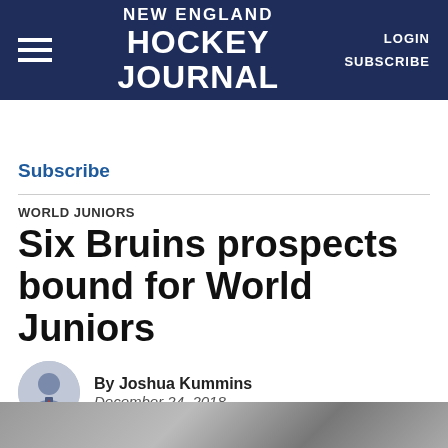NEW ENGLAND HOCKEY JOURNAL | LOGIN | SUBSCRIBE
Subscribe
WORLD JUNIORS
Six Bruins prospects bound for World Juniors
By Joshua Kummins
December 24, 2018
[Figure (photo): Author headshot of Joshua Kummins, circular cropped photo]
[Figure (photo): Social media sharing icons: Facebook, Twitter, Email, More (plus)]
[Figure (photo): Bottom strip showing a hockey-related image, partially visible]